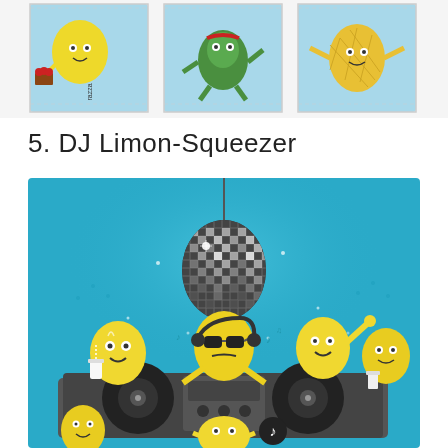[Figure (illustration): Three cartoon character stamps in a row on light blue backgrounds: a lemon character with raspberries, a turtle/frog character with a red headband, and a pineapple character. Each stamp shows partial text label.]
5. DJ Limon-Squeezer
[Figure (illustration): Colorful cartoon illustration on a teal/turquoise blue background showing multiple yellow lemon characters at a DJ setup with turntables. One lemon wears headphones and sunglasses as the DJ. Others dance around. A disco ball hangs from above. Music notes float in the air.]